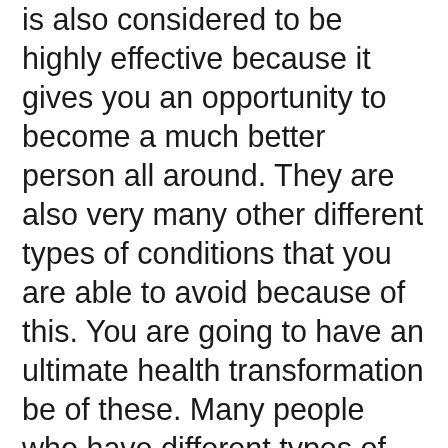is also considered to be highly effective because it gives you an opportunity to become a much better person all around. They are also very many other different types of conditions that you are able to avoid because of this. You are going to have an ultimate health transformation be of these. Many people who have different types of conditions like hypertension or such kinds of problems have been known to be affected by high levels of stress. Workplace stress is also considered to be a major problem for many people. Changing your habits can be very helpful. Some of the examples of these include changing your eating habits. You also need to create disciplines that are going to help you to be much productive for your company because that is going to help you